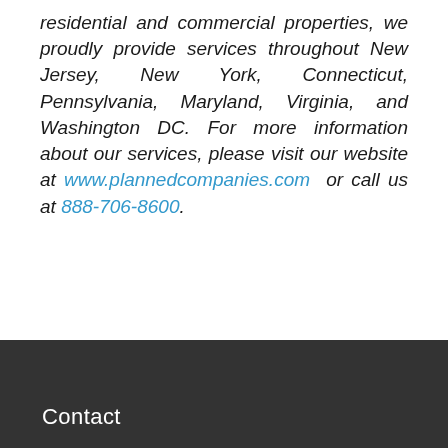residential and commercial properties, we proudly provide services throughout New Jersey, New York, Connecticut, Pennsylvania, Maryland, Virginia, and Washington DC. For more information about our services, please visit our website at www.plannedcompanies.com or call us at 888-706-8600.
Contact